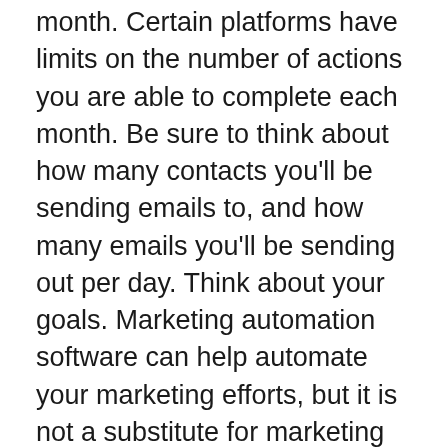month. Certain platforms have limits on the number of actions you are able to complete each month. Be sure to think about how many contacts you'll be sending emails to, and how many emails you'll be sending out per day. Think about your goals. Marketing automation software can help automate your marketing efforts, but it is not a substitute for marketing expertise. So, ensure that you choose a channel for marketing that you find to be effective and stick with it. This will let you scale your marketing efforts.
When it comes to automation, email is the most effective method to reach customers. According to research that show the number of email users will surpass 4.3 billion by 2023. This technology comes with the...